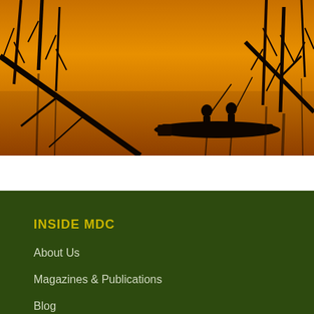[Figure (photo): Two fishermen standing on a boat at golden hour sunset, surrounded by dead tree trunks rising from a still lake reflecting orange and golden light. Silhouettes of trees create dramatic shapes against the warm golden sky.]
INSIDE MDC
About Us
Magazines & Publications
Blog